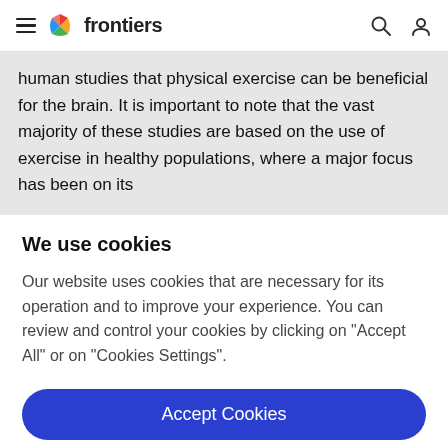frontiers
human studies that physical exercise can be beneficial for the brain. It is important to note that the vast majority of these studies are based on the use of exercise in healthy populations, where a major focus has been on its
We use cookies
Our website uses cookies that are necessary for its operation and to improve your experience. You can review and control your cookies by clicking on "Accept All" or on "Cookies Settings".
Accept Cookies
Cookies Settings